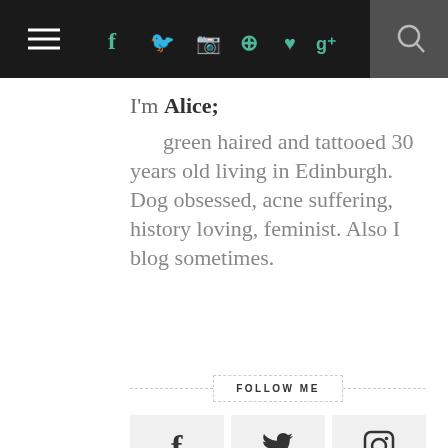[Figure (screenshot): Top navigation bar with hamburger menu, social media icons (facebook, twitter, instagram, pinterest, heart/bloglovin, google+) in teal color, and a search icon on dark background]
I'm Alice;
      green haired and tattooed 30 years old living in Edinburgh. Dog obsessed, acne suffering, history loving, feminist. Also I blog sometimes.
FOLLOW ME
[Figure (infographic): 3x2 grid of social media follow buttons: Facebook, Twitter, Instagram (top row), Pinterest, Bloglovin, YouTube (bottom row), each with icon and label on light grey background]